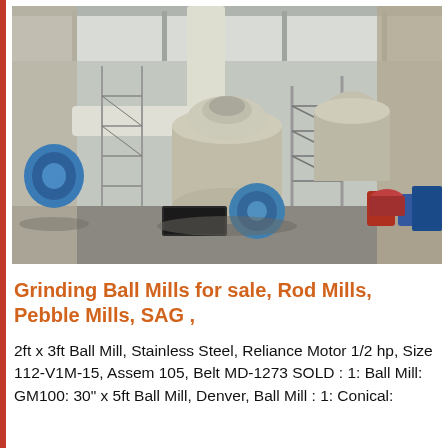[Figure (photo): Industrial grinding mill equipment inside a large facility. Shows large cylindrical ball mills, pipe work, conveyors, scaffolding/staircases, and blue drums on a concrete floor under a bright industrial roof.]
Grinding Ball Mills for sale, Rod Mills, Pebble Mills, SAG ,
2ft x 3ft Ball Mill, Stainless Steel, Reliance Motor 1/2 hp, Size 112-V1M-15, Assem 105, Belt MD-1273 SOLD : 1: Ball Mill: GM100: 30" x 5ft Ball Mill, Denver, Ball Mill : 1: Conical: